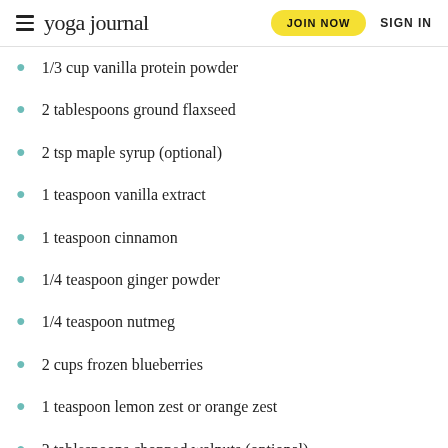yoga journal | JOIN NOW | SIGN IN
1/3 cup vanilla protein powder
2 tablespoons ground flaxseed
2 tsp maple syrup (optional)
1 teaspoon vanilla extract
1 teaspoon cinnamon
1/4 teaspoon ginger powder
1/4 teaspoon nutmeg
2 cups frozen blueberries
1 teaspoon lemon zest or orange zest
2 tablespoons chopped walnuts (optional)